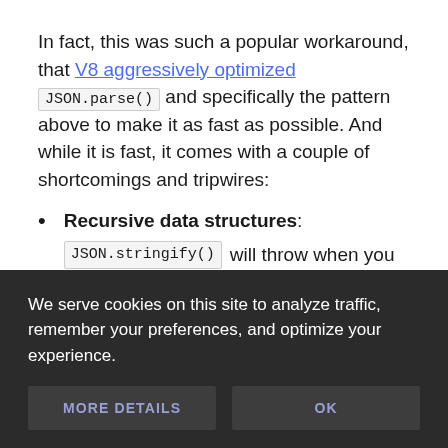In fact, this was such a popular workaround, that V8 aggressively optimized JSON.parse() and specifically the pattern above to make it as fast as possible. And while it is fast, it comes with a couple of shortcomings and tripwires:
Recursive data structures: JSON.stringify() will throw when you
We serve cookies on this site to analyze traffic, remember your preferences, and optimize your experience.